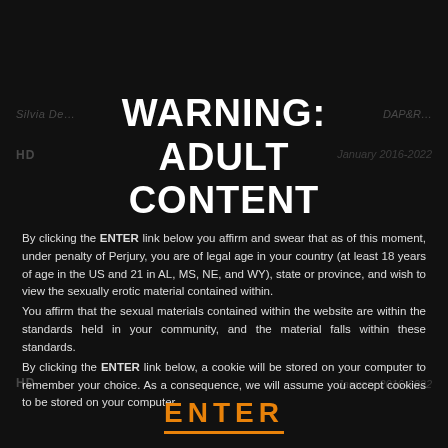WARNING: ADULT CONTENT
By clicking the ENTER link below you affirm and swear that as of this moment, under penalty of Perjury, you are of legal age in your country (at least 18 years of age in the US and 21 in AL, MS, NE, and WY), state or province, and wish to view the sexually erotic material contained within.
You affirm that the sexual materials contained within the website are within the standards held in your community, and the material falls within these standards.
By clicking the ENTER link below, a cookie will be stored on your computer to remember your choice. As a consequence, we will assume you accept cookies to be stored on your computer.
ENTER